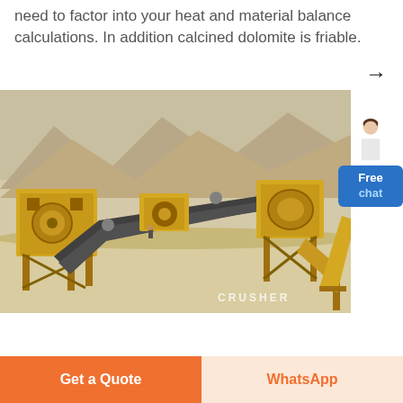need to factor into your heat and material balance calculations. In addition calcined dolomite is friable.
[Figure (photo): Outdoor industrial crusher/mining processing plant with yellow machinery, conveyor belts, set against a desert mountainous landscape. Watermark text 'CRUSHER' visible in lower right.]
Free chat
Get a Quote
WhatsApp